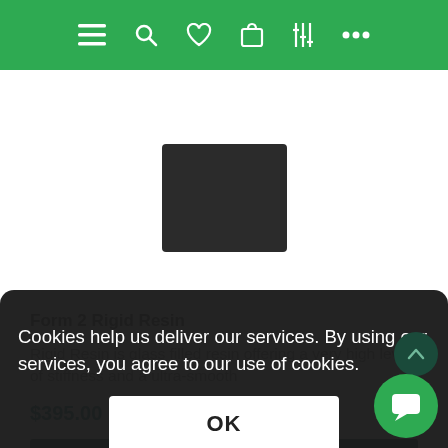[Figure (screenshot): Green navigation bar with hamburger menu, search, heart/wishlist, shopping bag, filter/settings sliders, and ellipsis icons in white]
[Figure (photo): Partial product image showing a dark charcoal/black rectangular box (3D printer resin cartridge) against white background]
Form 2 Rigid Resin
Rigid Resin is glass filled resin offering a very high level of stiffness and a ultra-smooth
$395.00 inc GST
LEARN MORE
Cookies help us deliver our services. By using our services, you agree to our use of cookies.
OK
Learn more